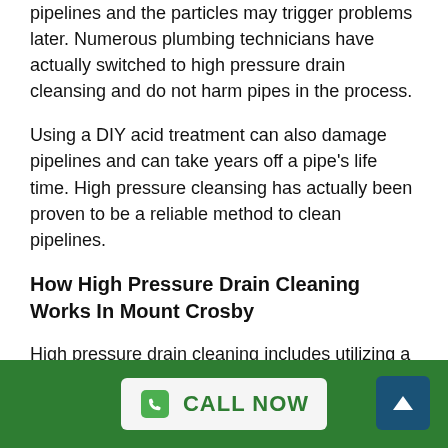pipelines and the particles may trigger problems later. Numerous plumbing technicians have actually switched to high pressure drain cleansing and do not harm pipes in the process.
Using a DIY acid treatment can also damage pipelines and can take years off a pipe's life time. High pressure cleansing has actually been proven to be a reliable method to clean pipelines.
How High Pressure Drain Cleaning Works In Mount Crosby
High pressure drain cleaning includes utilizing a high pressure device to wash out stopped up drains. They use approximately 80 litres of water per minute and can clean a drain rapidly. High pressure drain cleaning is now considered the very best method to clean drains
CALL NOW